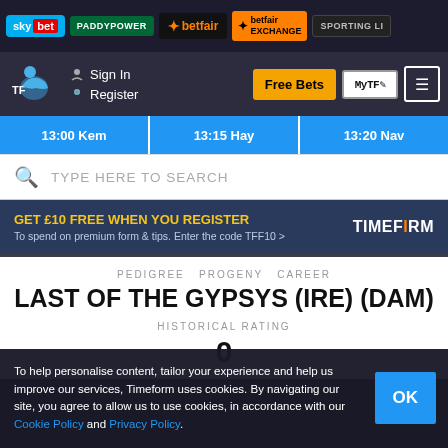sky bet | PADDYPOWER | betfair | betfair EXCHANGE | SPORTING LI
Sign In | Register | Free Bets | MyTF | menu
13:00 Kem | 13:15 Hay | 13:20 Nav
TYPE HERE TO SEARCH
GET £10 FREE WHEN YOU REGISTER To spend on premium form & tips. Enter the code TFF10 > TIMEFORM
PEDIGREE PROGENY CAREER
LAST OF THE GYPSYS (IRE) (DAM)
HISTORICAL RATING
0
To help personalise content, tailor your experience and help us improve our services, Timeform uses cookies. By navigating our site, you agree to allow us to use cookies, in accordance with our Cookie Policy and Privacy Policy.